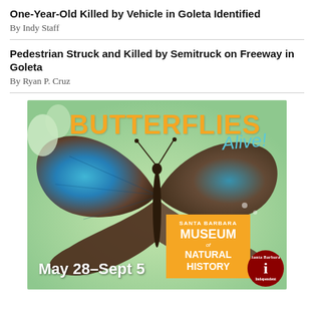One-Year-Old Killed by Vehicle in Goleta Identified
By Indy Staff
Pedestrian Struck and Killed by Semitruck on Freeway in Goleta
By Ryan P. Cruz
[Figure (illustration): Advertisement for Butterflies Alive! exhibit at Santa Barbara Museum of Natural History, May 28–Sept 5. Features a large blue morpho butterfly on a green background with the Santa Barbara Independent logo badge.]